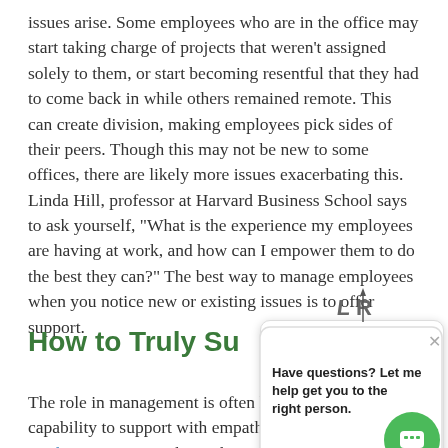issues arise. Some employees who are in the office may start taking charge of projects that weren't assigned solely to them, or start becoming resentful that they had to come back in while others remained remote. This can create division, making employees pick sides of their peers. Though this may not be new to some offices, there are likely more issues exacerbating this. Linda Hill, professor at Harvard Business School says to ask yourself, “What is the experience my employees are having at work, and how can I empower them to do the best they can?” The best way to manage employees when you notice new or existing issues is to offer support.
How to Truly Su...
The role in management is often linked to the leader’s capability to support with empathy while managing a productive team. Right now there will be several variables to work around. Like you they are dealing with a global crisis and an unstable
[Figure (screenshot): Chat popup widget showing LR logo and message 'Have questions? Let me help get you to the right person.' with a green chat circle button in bottom right.]